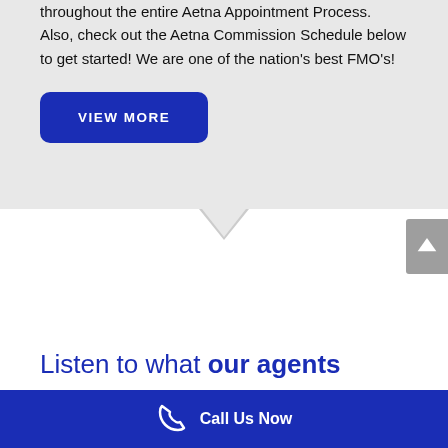throughout the entire Aetna Appointment Process. Also, check out the Aetna Commission Schedule below to get started! We are one of the nation's best FMO's!
VIEW MORE
Listen to what our agents
Call Us Now